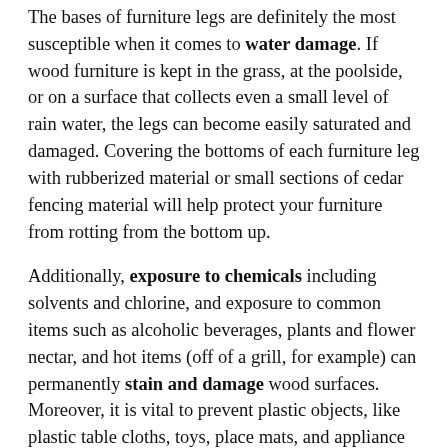The bases of furniture legs are definitely the most susceptible when it comes to water damage. If wood furniture is kept in the grass, at the poolside, or on a surface that collects even a small level of rain water, the legs can become easily saturated and damaged. Covering the bottoms of each furniture leg with rubberized material or small sections of cedar fencing material will help protect your furniture from rotting from the bottom up.
Additionally, exposure to chemicals including solvents and chlorine, and exposure to common items such as alcoholic beverages, plants and flower nectar, and hot items (off of a grill, for example) can permanently stain and damage wood surfaces. Moreover, it is vital to prevent plastic objects, like plastic table cloths, toys, place mats, and appliance covers, from lying on wood furniture for a long period of time because plastic can discolor wood. Plastic can also stick to and damage a wood finish.